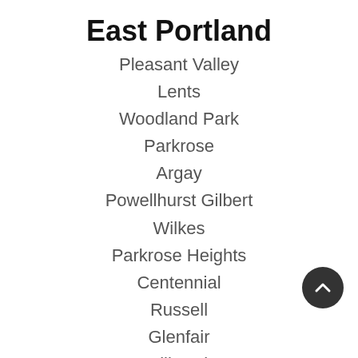East Portland
Pleasant Valley
Lents
Woodland Park
Parkrose
Argay
Powellhurst Gilbert
Wilkes
Parkrose Heights
Centennial
Russell
Glenfair
Mill Park
Hazelwood
Northwest Portland